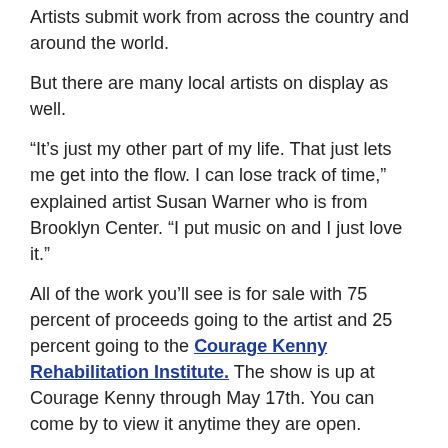Artists submit work from across the country and around the world.
But there are many local artists on display as well.
“It’s just my other part of my life. That just lets me get into the flow. I can lose track of time,” explained artist Susan Warner who is from Brooklyn Center. “I put music on and I just love it.”
All of the work you’ll see is for sale with 75 percent of proceeds going to the artist and 25 percent going to the Courage Kenny Rehabilitation Institute. The show is up at Courage Kenny through May 17th. You can come by to view it anytime they are open.
Neil Pursley, reporting